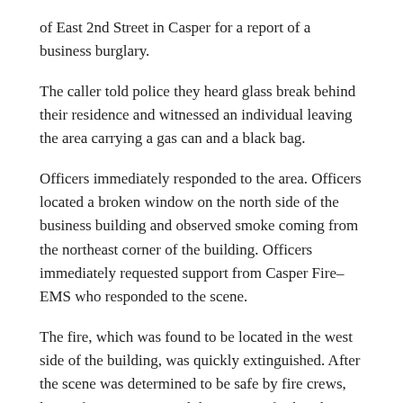of East 2nd Street in Casper for a report of a business burglary.
The caller told police they heard glass break behind their residence and witnessed an individual leaving the area carrying a gas can and a black bag.
Officers immediately responded to the area. Officers located a broken window on the north side of the business building and observed smoke coming from the northeast corner of the building. Officers immediately requested support from Casper Fire–EMS who responded to the scene.
The fire, which was found to be located in the west side of the building, was quickly extinguished. After the scene was determined to be safe by fire crews, law enforcement entered the scene to further the investigation.